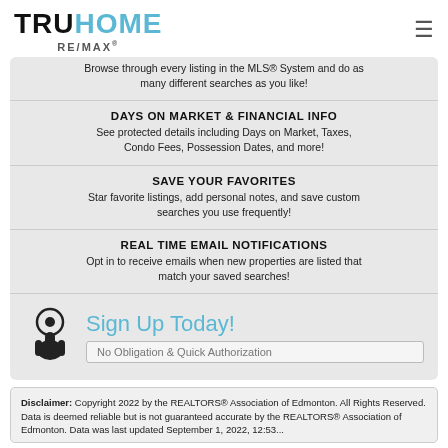TRUHOME RE/MAX
Browse through every listing in the MLS® System and do as many different searches as you like!
DAYS ON MARKET & FINANCIAL INFO
See protected details including Days on Market, Taxes, Condo Fees, Possession Dates, and more!
SAVE YOUR FAVORITES
Star favorite listings, add personal notes, and save custom searches you use frequently!
REAL TIME EMAIL NOTIFICATIONS
Opt in to receive emails when new properties are listed that match your saved searches!
Sign Up Today!
No Obligation & Quick Authorization
Disclaimer: Copyright 2022 by the REALTORS® Association of Edmonton. All Rights Reserved. Data is deemed reliable but is not guaranteed accurate by the REALTORS® Association of Edmonton. Data was last updated September 1, 2022, 12:53...